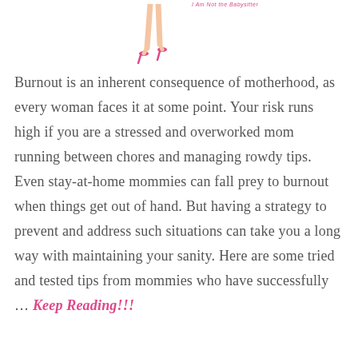[Figure (illustration): Partial illustration of a stylized woman figure (legs and high heels) in pink/peach tones, with site title text 'I Am Not the Babysitter' in pink beside it]
Burnout is an inherent consequence of motherhood, as every woman faces it at some point. Your risk runs high if you are a stressed and overworked mom running between chores and managing rowdy tips. Even stay-at-home mommies can fall prey to burnout when things get out of hand. But having a strategy to prevent and address such situations can take you a long way with maintaining your sanity. Here are some tried and tested tips from mommies who have successfully … Keep Reading!!!